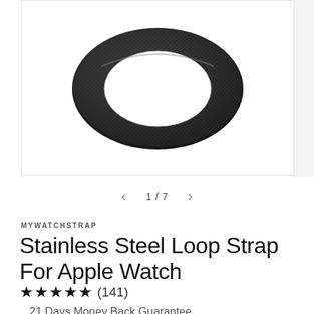[Figure (photo): Black stainless steel mesh loop watch strap for Apple Watch, shown rolled/coiled, viewed from above on white background]
1 / 7
MYWATCHSTRAP
Stainless Steel Loop Strap For Apple Watch
★★★★★ (141)
21 Days Money Back Guarantee